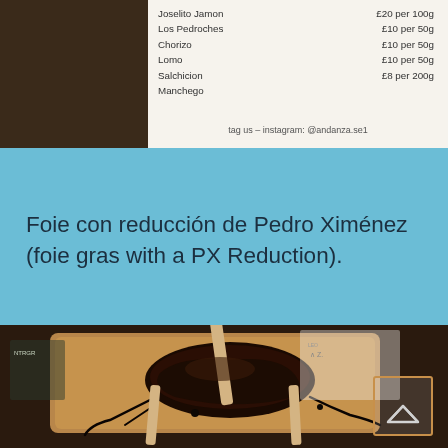[Figure (photo): Top portion of a restaurant menu showing items and prices on white paper background]
Joselito Jamon  £20 per 100g
Los Pedroches  £10 per 50g
Chorizo  £10 per 50g
Lomo  £10 per 50g
Salchicion  £8 per 200g
Manchego
tag us - instagram: @andanza.se1
Foie con reducción de Pedro Ximénez (foie gras with a PX Reduction).
[Figure (photo): A dish of foie gras with Pedro Ximenez reduction served on a wooden board, garnished with wooden skewers. Restaurant menu visible in background.]